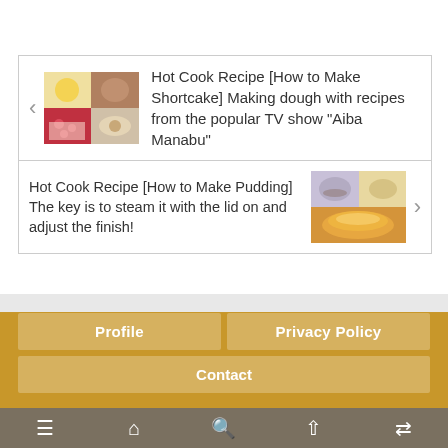[Figure (screenshot): Carousel card 1: Hot Cook Recipe shortcake article with food photos (strawberry cake, buns) and left arrow navigation]
Hot Cook Recipe [How to Make Shortcake] Making dough with recipes from the popular TV show "Aiba Manabu"
[Figure (screenshot): Carousel card 2: Hot Cook Recipe pudding article with pudding photos and right arrow navigation]
Hot Cook Recipe [How to Make Pudding] The key is to steam it with the lid on and adjust the finish!
[Figure (screenshot): Footer navigation buttons: Profile, Privacy Policy, Contact]
Copyright © 2019-2022 INDOOR ENJOY LIFE All Rights Reserved.